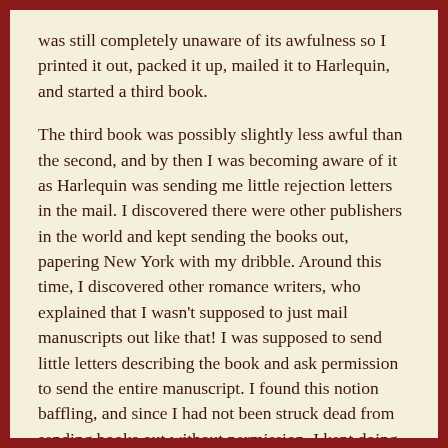was still completely unaware of its awfulness so I printed it out, packed it up, mailed it to Harlequin, and started a third book.
The third book was possibly slightly less awful than the second, and by then I was becoming aware of it as Harlequin was sending me little rejection letters in the mail. I discovered there were other publishers in the world and kept sending the books out, papering New York with my dribble. Around this time, I discovered other romance writers, who explained that I wasn't supposed to just mail manuscripts out like that! I was supposed to send little letters describing the book and ask permission to send the entire manuscript. I found this notion baffling, and since I had not been struck dead from sending books out without permission, I kept doing it. (I'm such a bad girl!)
An editor at a small publishing house called Meteor